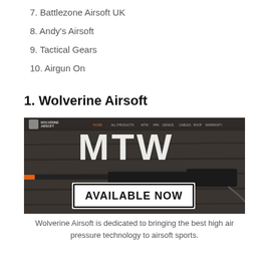7. Battlezone Airsoft UK
8. Andy's Airsoft
9. Tactical Gears
10. Airgun On
1. Wolverine Airsoft
[Figure (screenshot): Wolverine Airsoft website banner showing an airsoft rifle and the text MTW AVAILABLE NOW on a dark wood-textured background with navigation menu at top.]
Wolverine Airsoft is dedicated to bringing the best high air pressure technology to airsoft sports.